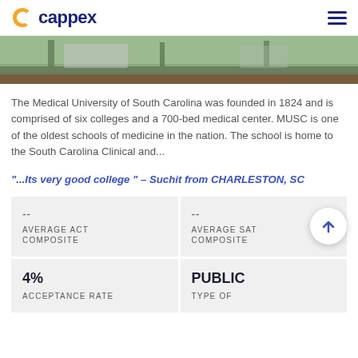cappex
[Figure (photo): Campus outdoor photo showing greenery and walkways]
The Medical University of South Carolina was founded in 1824 and is comprised of six colleges and a 700-bed medical center. MUSC is one of the oldest schools of medicine in the nation. The school is home to the South Carolina Clinical and...
“...Its very good college ” – Suchit from CHARLESTON, SC
| Stat | Value |
| --- | --- |
| AVERAGE ACT COMPOSITE | -- |
| AVERAGE SAT COMPOSITE | -- |
| ACCEPTANCE RATE | 4% |
| TYPE OF | PUBLIC |